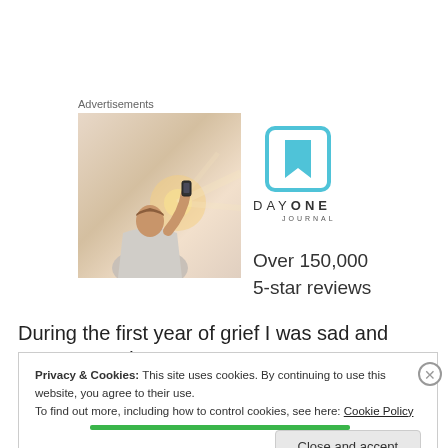Advertisements
[Figure (photo): Person photographing sunset with phone, back view, wearing light blue shirt]
[Figure (logo): Day One Journal logo with cyan bookmark icon and text DAYONE JOURNAL followed by 'Over 150,000 5-star reviews']
During the first year of grief I was sad and angry at God
Privacy & Cookies: This site uses cookies. By continuing to use this website, you agree to their use.
To find out more, including how to control cookies, see here: Cookie Policy
Close and accept